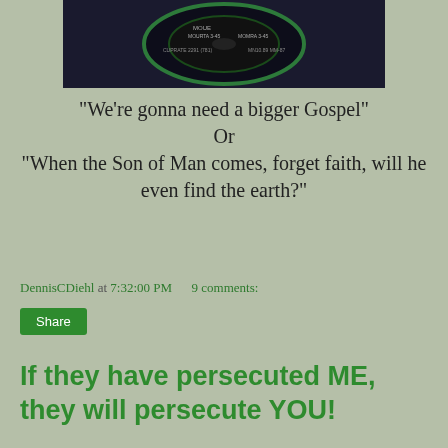[Figure (photo): Dark circular record or disc image with green ring, partially cropped at top]
"We're gonna need a bigger Gospel"
Or
"When the Son of Man comes, forget faith, will he even find the earth?"
DennisCDiehl at 7:32:00 PM    9 comments:
Share
If they have persecuted ME, they will persecute YOU!
[Figure (photo): Meme image with text 'FORMER COG MEMBERS IN THE HANDS OF SATAN' overlaid on black and white image of two stone or marble faces]